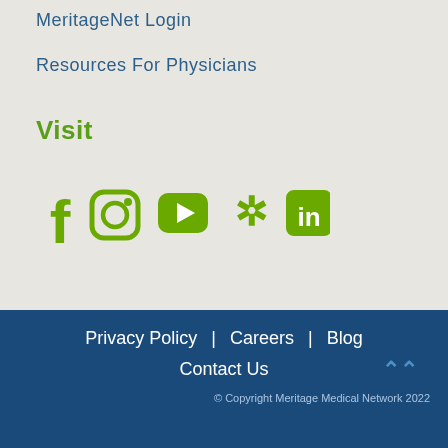MeritageNet Login
Resources For Physicians
Visit
[Figure (illustration): Social media icons row: Facebook, Instagram, YouTube, Yelp, LinkedIn — all in olive/lime green color]
Privacy Policy   Careers   Blog
Contact Us
© Copyright Meritage Medical Network 2022